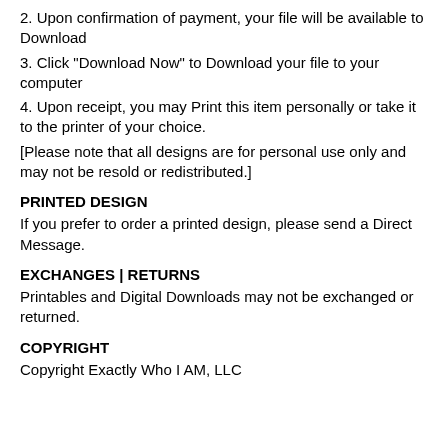2. Upon confirmation of payment, your file will be available to Download
3. Click "Download Now" to Download your file to your computer
4. Upon receipt, you may Print this item personally or take it to the printer of your choice.
[Please note that all designs are for personal use only and may not be resold or redistributed.]
PRINTED DESIGN
If you prefer to order a printed design, please send a Direct Message.
EXCHANGES | RETURNS
Printables and Digital Downloads may not be exchanged or returned.
COPYRIGHT
Copyright Exactly Who I AM, LLC